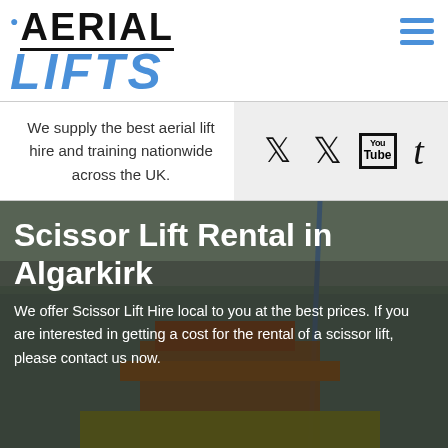[Figure (logo): Aerial Lifts company logo with map pin icon, bold black AERIAL text with underline, italic blue LIFTS text]
[Figure (infographic): Hamburger menu icon made of three blue horizontal bars]
We supply the best aerial lift hire and training nationwide across the UK.
[Figure (infographic): Social media icons: Twitter bird, Pinterest P, YouTube box, Tumblr t]
[Figure (photo): Photo of scissor lift equipment inside a large industrial building with green walls and orange lift structure]
Scissor Lift Rental in Algarkirk
We offer Scissor Lift Hire local to you at the best prices. If you are interested in getting a cost for the rental of a scissor lift, please contact us now.